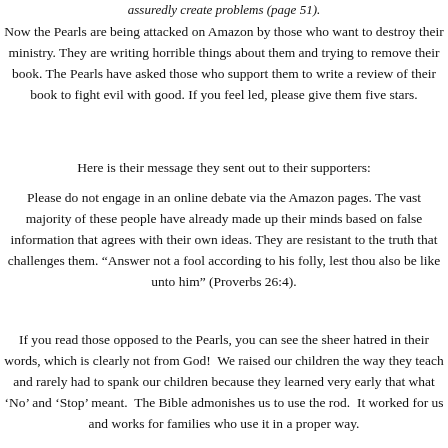assuredly create problems (page 51).
Now the Pearls are being attacked on Amazon by those who want to destroy their ministry. They are writing horrible things about them and trying to remove their book. The Pearls have asked those who support them to write a review of their book to fight evil with good. If you feel led, please give them five stars.
Here is their message they sent out to their supporters:
Please do not engage in an online debate via the Amazon pages. The vast majority of these people have already made up their minds based on false information that agrees with their own ideas. They are resistant to the truth that challenges their “Answer not a fool according to his folly, lest thou also be like unto him” (Proverbs 26:4).
If you read those opposed to the Pearls, you can see the sheer hatred in their words, which is clearly not from God! We raised our children the way they teach and rarely had to spank our children because they learned very early that what ‘No’ and ‘Stop’ meant. The Bible admonishes us to use the rod. It worked for us and works for families who use it in a proper way.